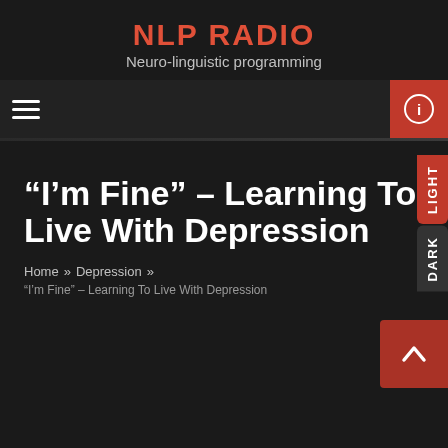NLP RADIO
Neuro-linguistic programming
[Figure (screenshot): Navigation bar with hamburger menu on left, search icon and red info button on right]
“I’m Fine” – Learning To Live With Depression
Home » Depression »
“I’m Fine” – Learning To Live With Depression